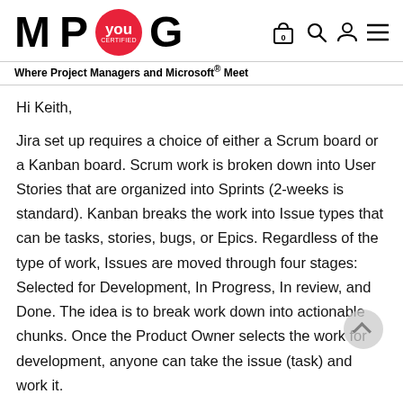M P you G — Where Project Managers and Microsoft® Meet
Hi Keith,
Jira set up requires a choice of either a Scrum board or a Kanban board. Scrum work is broken down into User Stories that are organized into Sprints (2-weeks is standard). Kanban breaks the work into Issue types that can be tasks, stories, bugs, or Epics. Regardless of the type of work, Issues are moved through four stages: Selected for Development, In Progress, In review, and Done. The idea is to break work down into actionable chunks. Once the Product Owner selects the work for development, anyone can take the issue (task) and work it.
In regards to your schedule question, there is no gantt chart in Jira. Jira is not a scheduling tool in the traditional critical path sense.